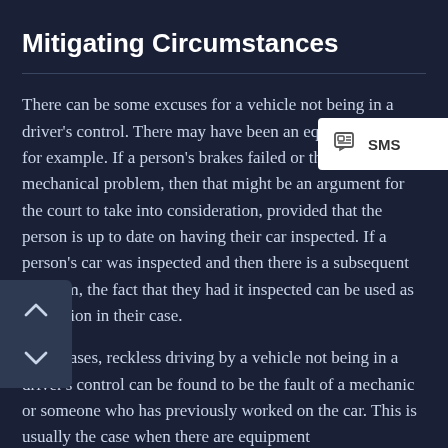Mitigating Circumstances
There can be some excuses for a vehicle not being in a driver's control. There may have been an equipment issue, for example. If a person's brakes failed or there was a mechanical problem, then that might be an argument for the court to take into consideration, provided that the person is up to date on having their car inspected. If a person's car was inspected and then there is a subsequent problem, the fact that they had it inspected can be used as mitigation in their case.
In some cases, reckless driving by a vehicle not being in a driver's control can be found to be the fault of a mechanic or someone who has previously worked on the car. This is usually the case when there are equipment